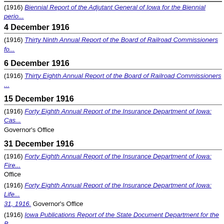4 December 1916
(1916) Biennial Report of the Adjutant General of Iowa for the Biennial period...
4 December 1916
(1916) Thirty Ninth Annual Report of the Board of Railroad Commissioners fo...
6 December 1916
(1916) Thirty Eighth Annual Report of the Board of Railroad Commissioners...
15 December 1916
(1916) Forty Eighth Annual Report of the Insurance Department of Iowa: Cas... Governor's Office
31 December 1916
(1916) Forty Eighth Annual Report of the Insurance Department of Iowa: Fire... Office
(1916) Forty Eighth Annual Report of the Insurance Department of Iowa: Life... 31, 1916. Governor's Office
(1916) Iowa Publications Report of the State Document Department for the B... Office